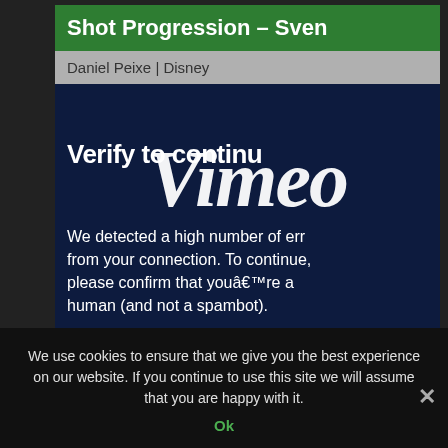Shot Progression – Sven
Daniel Peixe | Disney
[Figure (screenshot): Dark navy video embed area showing a Vimeo 'Verify to continue' human verification overlay with large white Vimeo logo and error message text]
Verify to continu
We detected a high number of erro from your connection. To continue, please confirm that youâ€™re a human (and not a spambot).
We use cookies to ensure that we give you the best experience on our website. If you continue to use this site we will assume that you are happy with it.
Ok